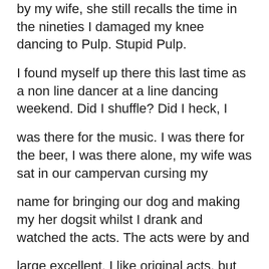by my wife, she still recalls the time in the nineties I damaged my knee dancing to Pulp. Stupid Pulp.
I found myself up there this last time as a non line dancer at a line dancing weekend. Did I shuffle? Did I heck, I
was there for the music. I was there for the beer, I was there alone, my wife was sat in our campervan cursing my
name for bringing our dog and making my her dogsit whilst I drank and watched the acts. The acts were by and
large excellent. I like original acts, but some of the time I like to hear a man with a guitar singing songs I know and
love. Ordinarily Fort San Antone puts on original acts, Luke and Mel, Dexeter, Sarabeth to name but a few but they do also cater for the dancers that want to hear Billy Currington or Toby Keith. The good thing is Fort San